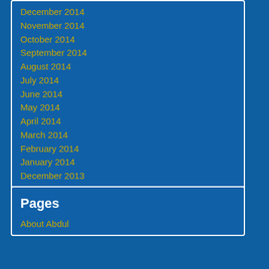December 2014
November 2014
October 2014
September 2014
August 2014
July 2014
June 2014
May 2014
April 2014
March 2014
February 2014
January 2014
December 2013
Pages
About Abdul